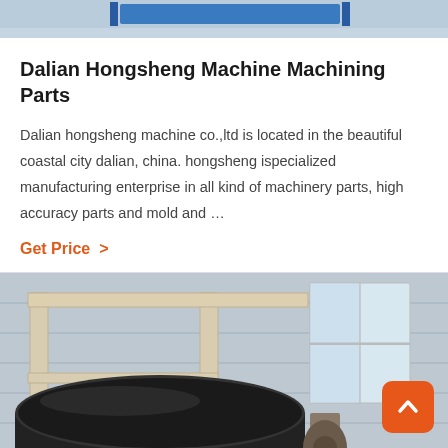[Figure (photo): Top portion of an industrial machinery photo, partially visible at the top of the page, showing blue metallic equipment against a light background.]
Dalian Hongsheng Machine Machining Parts
Dalian hongsheng machine co.,ltd is located in the beautiful coastal city dalian, china. hongsheng ispecialized manufacturing enterprise in all kind of machinery parts, high accuracy parts and mold and …
Get Price  >
[Figure (photo): Industrial machine in a factory setting — a large black cylindrical drum/roller mounted on a beige metal frame structure, with windows and corrugated walls visible in the background.]
Leave Message   Chat Online